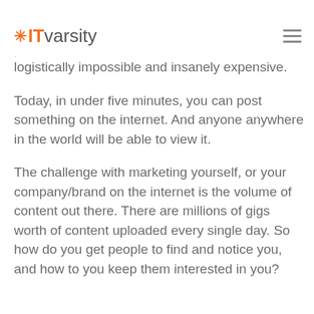IT varsity
If you created an add or wrote an article, and make it visible to every single person on the planet. It would have been logistically impossible and insanely expensive.
Today, in under five minutes, you can post something on the internet. And anyone anywhere in the world will be able to view it.
The challenge with marketing yourself, or your company/brand on the internet is the volume of content out there. There are millions of gigs worth of content uploaded every single day. So how do you get people to find and notice you, and how to you keep them interested in you?